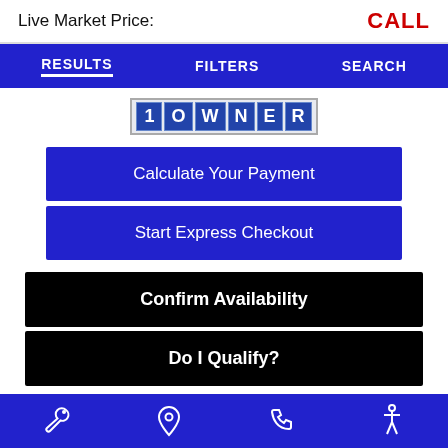Live Market Price:
CALL
RESULTS   FILTERS   SEARCH
[Figure (other): 1OWNER badge with blue tiled letter blocks]
Calculate Your Payment
Start Express Checkout
Confirm Availability
Do I Qualify?
Trade or Sell?
Start Pre-Order
wrench icon  location pin icon  phone icon  accessibility icon